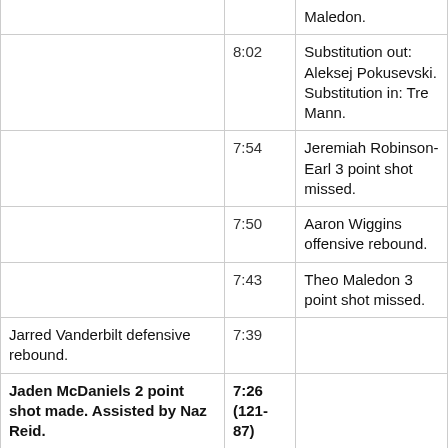| Home Team | Time | Away Team |
| --- | --- | --- |
|  |  | Maledon. |
|  | 8:02 | Substitution out: Aleksej Pokusevski.
Substitution in: Tre Mann. |
|  | 7:54 | Jeremiah Robinson-Earl 3 point shot missed. |
|  | 7:50 | Aaron Wiggins offensive rebound. |
|  | 7:43 | Theo Maledon 3 point shot missed. |
| Jarred Vanderbilt defensive rebound. | 7:39 |  |
| Jaden McDaniels 2 point shot made. Assisted by Naz Reid. | 7:26 (121-87) |  |
|  |  | Tre Mann 2 point shot... |